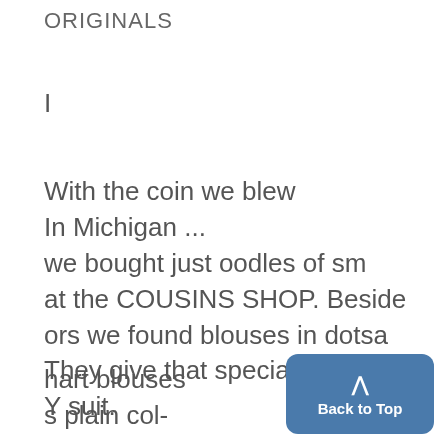ORIGINALS
I
With the coin we blew
In Michigan ...
we bought just oodles of sm
at the COUSINS SHOP. Beside
ors we found blouses in dotsa
They give that special touch to
Y suit.
hart blouses
s plain col-